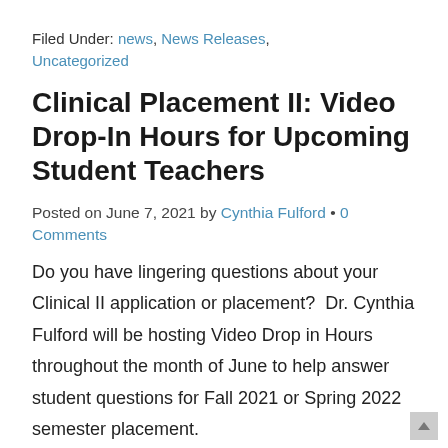Filed Under: news, News Releases, Uncategorized
Clinical Placement II: Video Drop-In Hours for Upcoming Student Teachers
Posted on June 7, 2021 by Cynthia Fulford • 0 Comments
Do you have lingering questions about your Clinical II application or placement?  Dr. Cynthia Fulford will be hosting Video Drop in Hours throughout the month of June to help answer student questions for Fall 2021 or Spring 2022 semester placement.